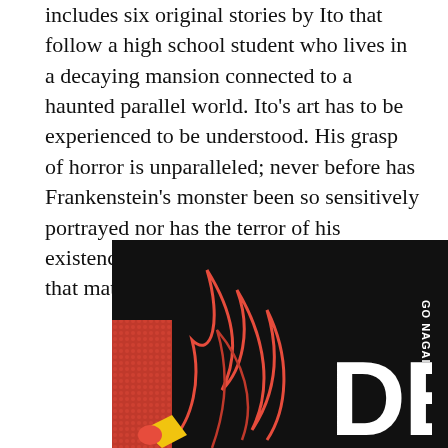includes six original stories by Ito that follow a high school student who lives in a decaying mansion connected to a haunted parallel world. Ito's art has to be experienced to be understood. His grasp of horror is unparalleled; never before has Frankenstein's monster been so sensitively portrayed nor has the terror of his existence beautifully rendered in images that match the mood of the narrative.
[Figure (illustration): Book cover of 'Go Nagai's Devil' — black background with red flame/devil outline shapes and partial yellow element at bottom, white text 'GO NAGAI'S' rotated vertically on the right side, and large bold white letters 'DEVI' visible on the right.]